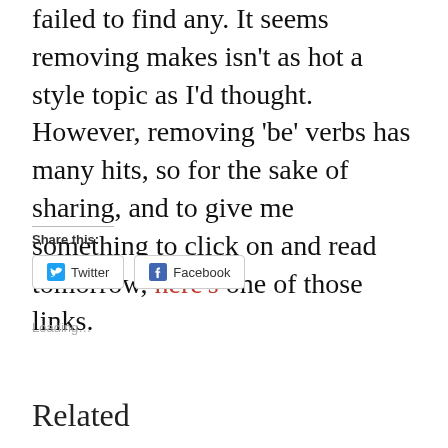failed to find any. It seems removing makes isn't as hot a style topic as I'd thought. However, removing 'be' verbs has many hits, so for the sake of sharing, and to give me something to click on and read tomorrow, here's one of those links.
Share this:
Twitter   Facebook
Loading…
Related